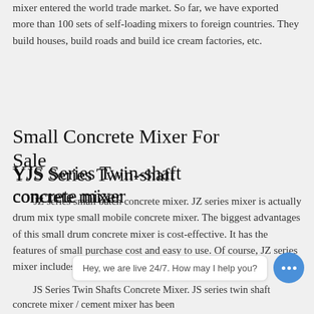mixer entered the world trade market. So far, we have exported more than 100 sets of self-loading mixers to foreign countries. They build houses, build roads and build ice cream factories, etc.
Small Concrete Mixer For Sale
JZ series small batch concrete mixer. JZ series mixer is actually drum mix type small mobile concrete mixer. The biggest advantages of this small drum concrete mixer is cost-effective. It has the features of small purchase cost and easy to use. Of course, JZ series mixer includes JZC and JZM models.
YJS Series Twin-shaft concrete mixer
Hey, we are live 24/7. How may I help you?
JS Series Twin Shafts Concrete Mixer. JS series twin shaft concrete mixer / cement mixer has been